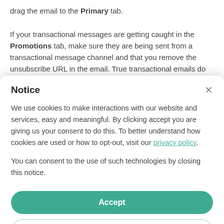drag the email to the Primary tab. If your transactional messages are getting caught in the Promotions tab, make sure they are being sent from a transactional message channel and that you remove the unsubscribe URL in the email. True transactional emails do
Notice
We use cookies to make interactions with our website and services, easy and meaningful. By clicking accept you are giving us your consent to do this. To better understand how cookies are used or how to opt-out, visit our privacy policy.
You can consent to the use of such technologies by closing this notice.